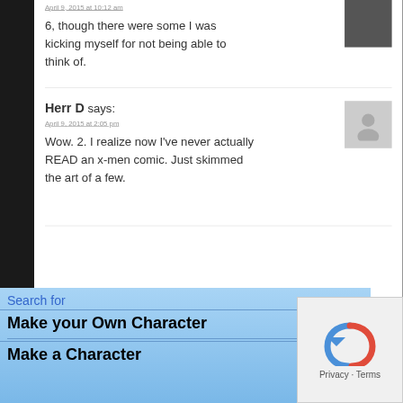6, though there were some I was kicking myself for not being able to think of.
April 9, 2015 at 10:12 am
Herr D says:
April 9, 2015 at 2:05 pm
Wow. 2. I realize now I've never actually READ an x-men comic. Just skimmed the art of a few.
Search for
Make your Own Character
Make a Character